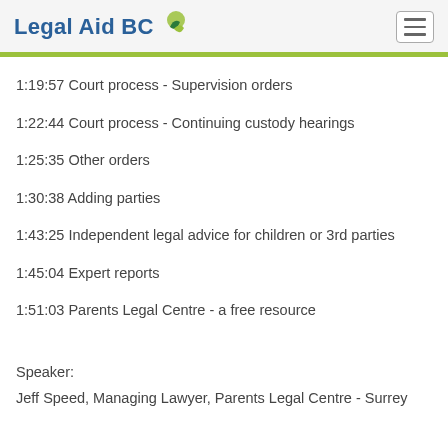Legal Aid BC
1:19:57 Court process - Supervision orders
1:22:44 Court process - Continuing custody hearings
1:25:35 Other orders
1:30:38 Adding parties
1:43:25 Independent legal advice for children or 3rd parties
1:45:04 Expert reports
1:51:03 Parents Legal Centre - a free resource
Speaker:
Jeff Speed, Managing Lawyer, Parents Legal Centre - Surrey